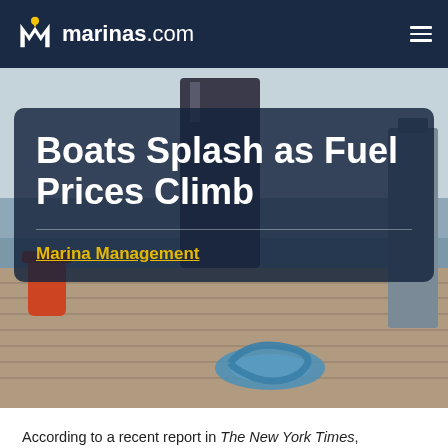marinas.com
Boats Splash as Fuel Prices Climb
Marina Management
According to a recent report in The New York Times...